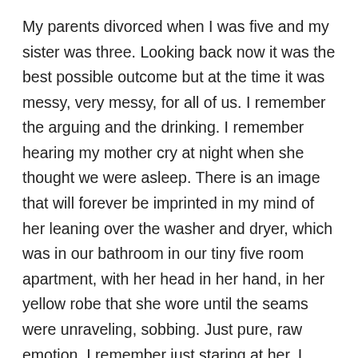My parents divorced when I was five and my sister was three. Looking back now it was the best possible outcome but at the time it was messy, very messy, for all of us. I remember the arguing and the drinking. I remember hearing my mother cry at night when she thought we were asleep. There is an image that will forever be imprinted in my mind of her leaning over the washer and dryer, which was in our bathroom in our tiny five room apartment, with her head in her hand, in her yellow robe that she wore until the seams were unraveling, sobbing. Just pure, raw emotion. I remember just staring at her. I don't think she saw me but I saw her, oh I saw her. At the time I couldn't figure out why she was crying. I thought daddy was working late... again. My mother seemed to